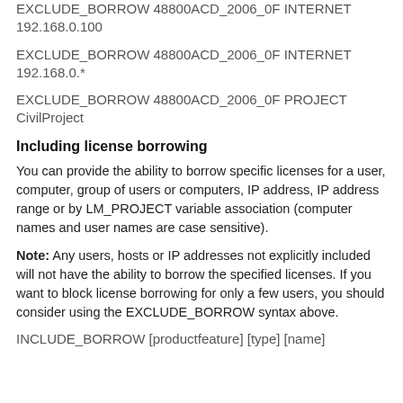EXCLUDE_BORROW 48800ACD_2006_0F INTERNET 192.168.0.100
EXCLUDE_BORROW 48800ACD_2006_0F INTERNET 192.168.0.*
EXCLUDE_BORROW 48800ACD_2006_0F PROJECT CivilProject
Including license borrowing
You can provide the ability to borrow specific licenses for a user, computer, group of users or computers, IP address, IP address range or by LM_PROJECT variable association (computer names and user names are case sensitive).
Note: Any users, hosts or IP addresses not explicitly included will not have the ability to borrow the specified licenses. If you want to block license borrowing for only a few users, you should consider using the EXCLUDE_BORROW syntax above.
INCLUDE_BORROW [productfeature] [type] [name]